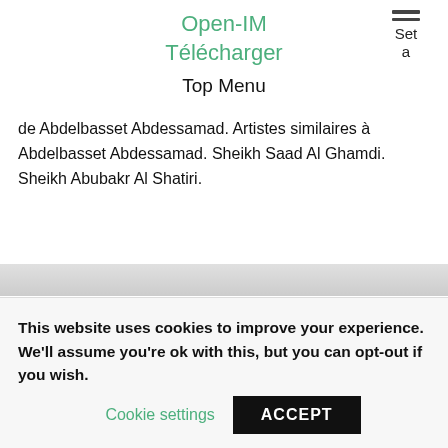Open-IM Télécharger
Set a
Top Menu
de Abdelbasset Abdessamad. Artistes similaires à Abdelbasset Abdessamad. Sheikh Saad Al Ghamdi. Sheikh Abubakr Al Shatiri.
This website uses cookies to improve your experience. We'll assume you're ok with this, but you can opt-out if you wish. Cookie settings ACCEPT